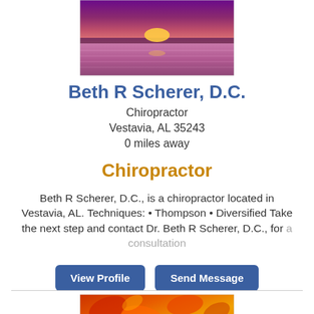[Figure (photo): Sunset over water with purple and pink sky]
Beth R Scherer, D.C.
Chiropractor
Vestavia, AL 35243
0 miles away
Chiropractor
Beth R Scherer, D.C., is a chiropractor located in Vestavia, AL. Techniques: • Thompson • Diversified Take the next step and contact Dr. Beth R Scherer, D.C., for a consultation
[Figure (photo): Autumn orange and red leaves close-up]